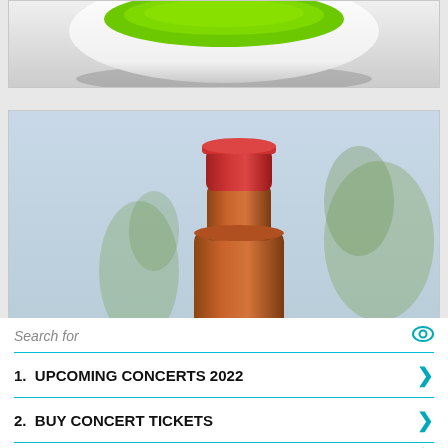[Figure (photo): Top portion of a white plate with bright green powder (matcha or similar) on a light grey background, partially cropped]
[Figure (photo): A sauce bottle with a red cap/top visible against a light blue-grey background with blurred green plant leaves in background]
Search for
1.  UPCOMING CONCERTS 2022
2.  BUY CONCERT TICKETS